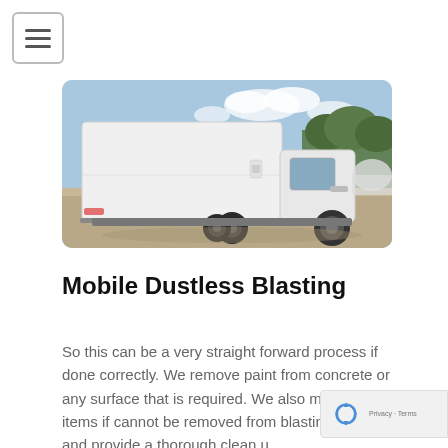[Figure (photo): A white box truck photographed from the rear-left angle, parked on a dirt/sandy area with blue sky and trees in the background.]
Mobile Dustless Blasting
So this can be a very straight forward process if done correctly. We remove paint from concrete or any surface that is required. We also mask up items if cannot be removed from blasting area and provide a thorough clean up afterwards. Or if the equipment is not required it...